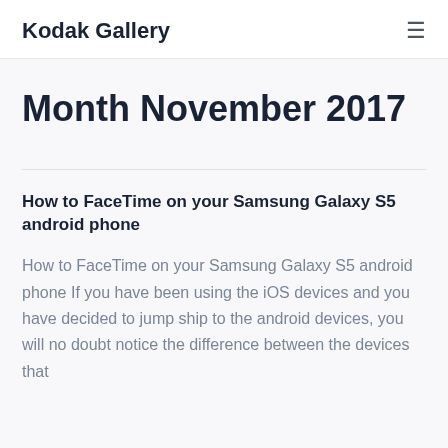Kodak Gallery
Month November 2017
How to FaceTime on your Samsung Galaxy S5 android phone
How to FaceTime on your Samsung Galaxy S5 android phone If you have been using the iOS devices and you have decided to jump ship to the android devices, you will no doubt notice the difference between the devices that